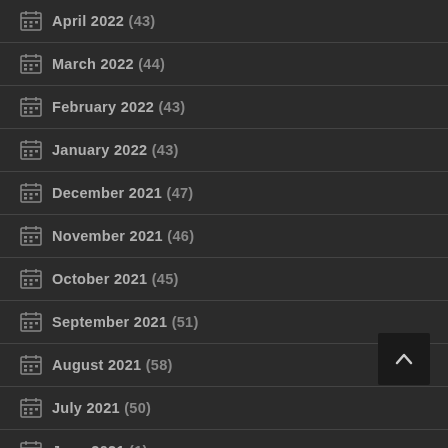April 2022 (43)
March 2022 (44)
February 2022 (43)
January 2022 (43)
December 2021 (47)
November 2021 (46)
October 2021 (45)
September 2021 (51)
August 2021 (58)
July 2021 (50)
June 2021 (1)